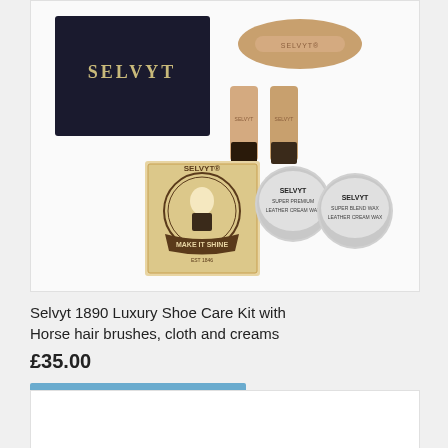[Figure (photo): Selvyt 1890 Luxury Shoe Care Kit product photo showing a black box labeled SELVYT, a wooden oval brush, two small brushes with wooden handles, a kraft paper box with 'MAKE IT SHINE' branding, and two round tins of Selvyt shoe cream/polish]
Selvyt 1890 Luxury Shoe Care Kit with Horse hair brushes, cloth and creams
£35.00
Add to Cart